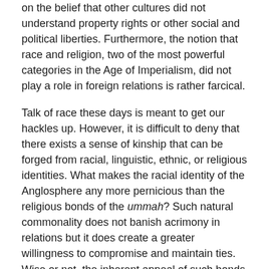on the belief that other cultures did not understand property rights or other social and political liberties. Furthermore, the notion that race and religion, two of the most powerful categories in the Age of Imperialism, did not play a role in foreign relations is rather farcical.
Talk of race these days is meant to get our hackles up. However, it is difficult to deny that there exists a sense of kinship that can be forged from racial, linguistic, ethnic, or religious identities. What makes the racial identity of the Anglosphere any more pernicious than the religious bonds of the ummah? Such natural commonality does not banish acrimony in relations but it does create a greater willingness to compromise and maintain ties. Wise or not, the inherent appeal of such bonds should be clear to most of us who meet a fellow countryman when travelling abroad.